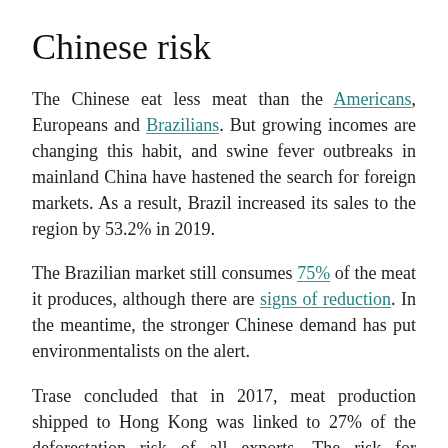Chinese risk
The Chinese eat less meat than the Americans, Europeans and Brazilians. But growing incomes are changing this habit, and swine fever outbreaks in mainland China have hastened the search for foreign markets. As a result, Brazil increased its sales to the region by 53.2% in 2019.
The Brazilian market still consumes 75% of the meat it produces, although there are signs of reduction. In the meantime, the stronger Chinese demand has put environmentalists on the alert.
Trase concluded that in 2017, meat production shipped to Hong Kong was linked to 27% of the deforestation risk of all exports. The risk for continental China was 7%, but had grown.